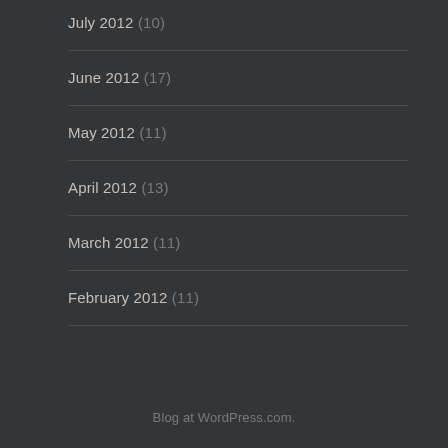July 2012 (10)
June 2012 (17)
May 2012 (11)
April 2012 (13)
March 2012 (11)
February 2012 (11)
Blog at WordPress.com.